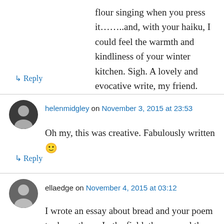flour singing when you press it……..and, with your haiku, I could feel the warmth and kindliness of your winter kitchen. Sigh. A lovely and evocative write, my friend.
↳ Reply
helenmidgley on November 3, 2015 at 23:53
Oh my, this was creative. Fabulously written 🙂
↳ Reply
ellaedge on November 4, 2015 at 03:12
I wrote an essay about bread and your poem took me there. In the field, the sun and the